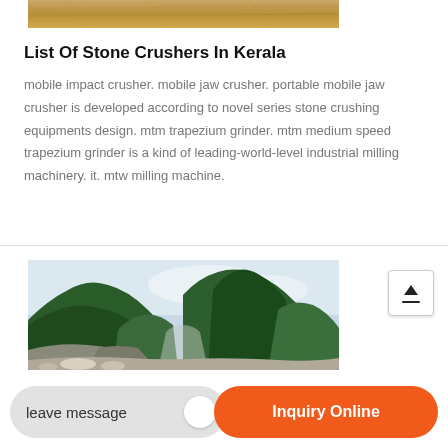[Figure (photo): Top strip of sandy/gravel material, partially visible at top of page]
List Of Stone Crushers In Kerala
mobile impact crusher. mobile jaw crusher. portable mobile jaw crusher is developed according to novel series stone crushing equipments design. mtm trapezium grinder. mtm medium speed trapezium grinder is a kind of leading-world-level industrial milling machinery. it. mtw milling machine.
[Figure (photo): Mountain quarry landscape with green hills and rocky terrain]
leave message
Inquiry Online